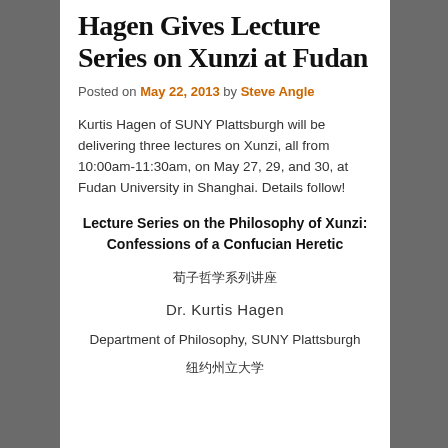Hagen Gives Lecture Series on Xunzi at Fudan
Posted on May 22, 2013 by Steve Angle
Kurtis Hagen of SUNY Plattsburgh will be delivering three lectures on Xunzi, all from 10:00am-11:30am, on May 27, 29, and 30, at Fudan University in Shanghai. Details follow!
Lecture Series on the Philosophy of Xunzi: Confessions of a Confucian Heretic
荀子哲学系列讲座
Dr. Kurtis Hagen
Department of Philosophy, SUNY Plattsburgh
纽约州立大学